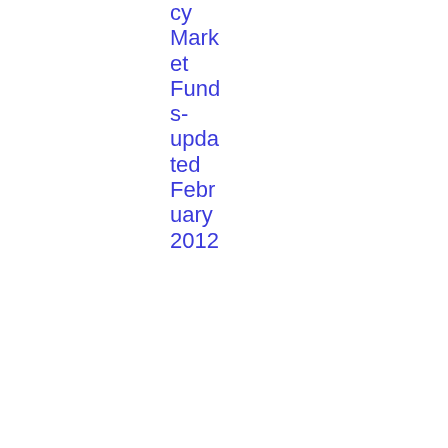cy Market Funds-updated February 2012
01/07/2015
2015/1005
Questions and Answers: Investment-based
Innovation and Products
Q&A
PDF
15
7.73 KB